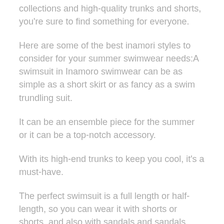collections and high-quality trunks and shorts, you're sure to find something for everyone.
Here are some of the best inamori styles to consider for your summer swimwear needs:A swimsuit in Inamoro swimwear can be as simple as a short skirt or as fancy as a swim trundling suit.
It can be an ensemble piece for the summer or it can be a top-notch accessory.
With its high-end trunks to keep you cool, it's a must-have.
The perfect swimsuit is a full length or half-length, so you can wear it with shorts or shorts, and also with sandals and sandals.
You can also wear a bikini top with the suit, and the skirt, and sandal, and bikini.